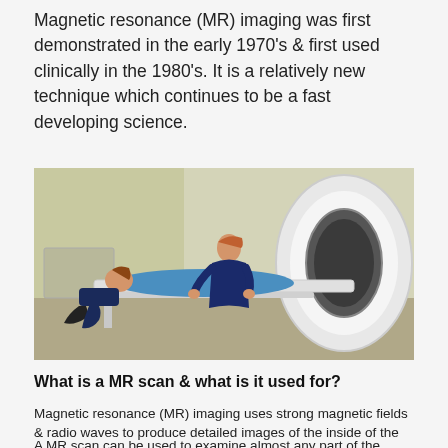Magnetic resonance (MR) imaging was first demonstrated in the early 1970's & first used clinically in the 1980's. It is a relatively new technique which continues to be a fast developing science.
[Figure (photo): A healthcare professional in a dark blue uniform assists a patient in a blue top who is lying on the table being guided into an MRI scanner machine.]
What is a MR scan & what is it used for?
Magnetic resonance (MR) imaging uses strong magnetic fields & radio waves to produce detailed images of the inside of the body.
A MR scan can be used to examine almost any part of the body.